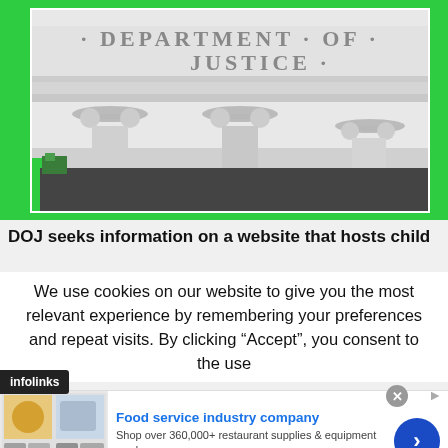[Figure (photo): Black and white photo of the Department of Justice building facade showing columns and the engraved text 'DEPARTMENT OF JUSTICE', with green background accent]
DOJ seeks information on a website that hosts child
We use cookies on our website to give you the most relevant experience by remembering your preferences and repeat visits. By clicking “Accept”, you consent to the use
infolinks
[Figure (screenshot): Advertisement banner for webstaurantstore.com - Food service industry company. Shop over 360,000+ restaurant supplies & equipment produc... www.webstaurantstore.com]